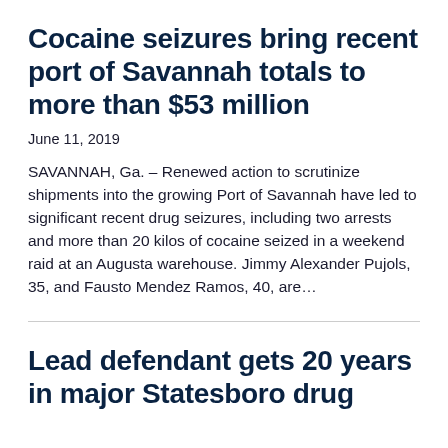Cocaine seizures bring recent port of Savannah totals to more than $53 million
June 11, 2019
SAVANNAH, Ga. – Renewed action to scrutinize shipments into the growing Port of Savannah have led to significant recent drug seizures, including two arrests and more than 20 kilos of cocaine seized in a weekend raid at an Augusta warehouse. Jimmy Alexander Pujols, 35, and Fausto Mendez Ramos, 40, are…
Lead defendant gets 20 years in major Statesboro drug